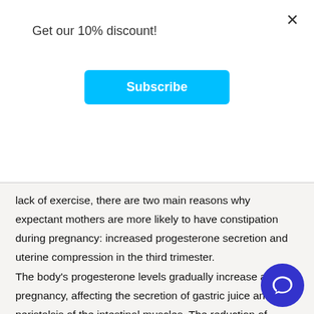Get our 10% discount!
Subscribe
lack of exercise, there are two main reasons why expectant mothers are more likely to have constipation during pregnancy: increased progesterone secretion and uterine compression in the third trimester. The body's progesterone levels gradually increase after pregnancy, affecting the secretion of gastric juice and the peristalsis of the intestinal muscles. The reduction of gastric juice and the slowing of intestinal peristalsis cause the food to stay in the intestine for a long time. The intestinal tract absorbs the water in the food residue again, and the stool